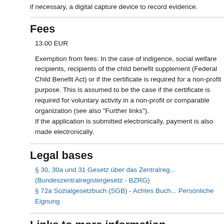if necessary, a digital capture device to record evidence.
Fees
13.00 EUR
Exemption from fees: In the case of indigence, social welfare recipients, recipients of the child benefit supplement (Federal Child Benefit Act) or if the certificate is required for a non-profit purpose. This is assumed to be the case if the certificate is required for voluntary activity in a non-profit or comparable organization (see also "Further links"). If the application is submitted electronically, payment is also made electronically.
Legal bases
§ 30, 30a und 31 Gesetz über das Zentralregister (Bundeszentralregistergesetz - BZRG)
§ 72a Sozialgesetzbuch (SGB) - Achtes Buch - Persönliche Eignung
Links to more information
Informationen zu Führungszeugnissen - Bun...
Informationen zum erweiterten Führungszeugnis...
Informationen zur AusweisApp2
Related issues